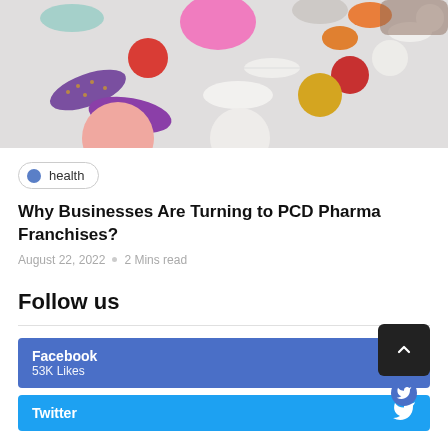[Figure (photo): Overhead photo of assorted colorful pills and capsules scattered on a light gray surface]
health
Why Businesses Are Turning to PCD Pharma Franchises?
August 22, 2022  o  2 Mins read
Follow us
Facebook
53K Likes
Twitter